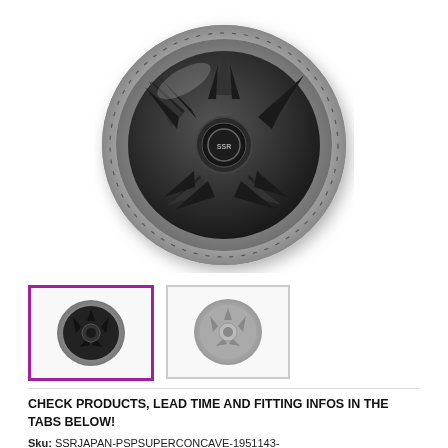[Figure (photo): Large product photo of a 5-spoke aftermarket car wheel (SSR Japan PSP Super Concave) with dark gunmetal spokes and polished chrome/silver lip, shown at a slight angle against a white background.]
[Figure (photo): Thumbnail 1 (active/selected, purple border): Front-angle view of the same dark 5-spoke SSR wheel with polished lip.]
[Figure (photo): Thumbnail 2: Side-angle view of the SSR wheel showing the silver/chrome 5-spoke face with polished barrel.]
CHECK PRODUCTS, LEAD TIME AND FITTING INFOS IN THE TABS BELOW!
Sku: SSRJAPAN-PSPSUPERCONCAVE-1951143-1127BDC-JR1